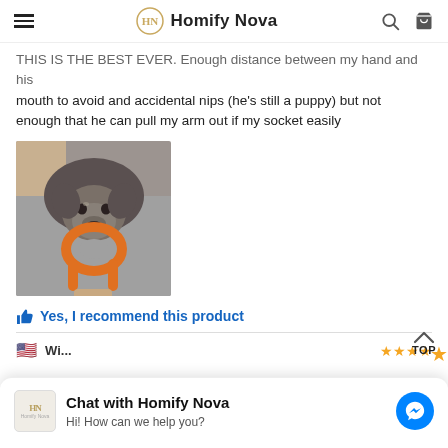Homify Nova
THIS IS THE BEST EVER. Enough distance between my hand and his mouth to avoid and accidental nips (he's still a puppy) but not enough that he can pull my arm out if my socket easily
[Figure (photo): A dog holding an orange ring/handle toy in its mouth, lying on a gray carpet. The dog appears to be a gray/silver Labrador or Weimaraner puppy.]
Yes, I recommend this product
Chat with Homify Nova
Hi! How can we help you?